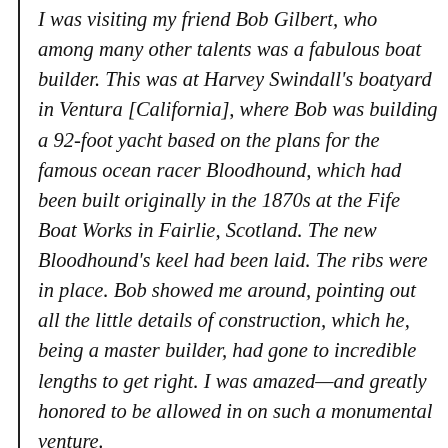I was visiting my friend Bob Gilbert, who among many other talents was a fabulous boat builder. This was at Harvey Swindall's boatyard in Ventura [California], where Bob was building a 92-foot yacht based on the plans for the famous ocean racer Bloodhound, which had been built originally in the 1870s at the Fife Boat Works in Fairlie, Scotland. The new Bloodhound's keel had been laid. The ribs were in place. Bob showed me around, pointing out all the little details of construction, which he, being a master builder, had gone to incredible lengths to get right. I was amazed—and greatly honored to be allowed in on such a monumental venture.